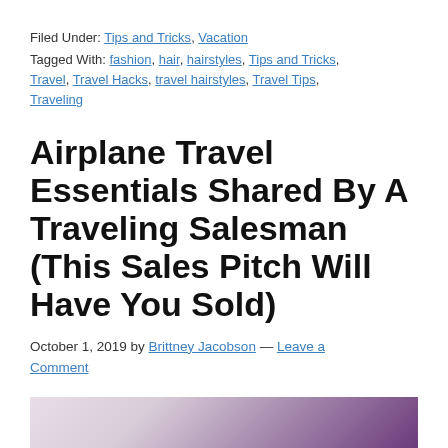Filed Under: Tips and Tricks, Vacation
Tagged With: fashion, hair, hairstyles, Tips and Tricks, Travel, Travel Hacks, travel hairstyles, Travel Tips, Traveling
Airplane Travel Essentials Shared By A Traveling Salesman (This Sales Pitch Will Have You Sold)
October 1, 2019 by Brittney Jacobson — Leave a Comment
[Figure (photo): Partially visible photo of a person, blurred/cropped, with light and purple tones in the background]